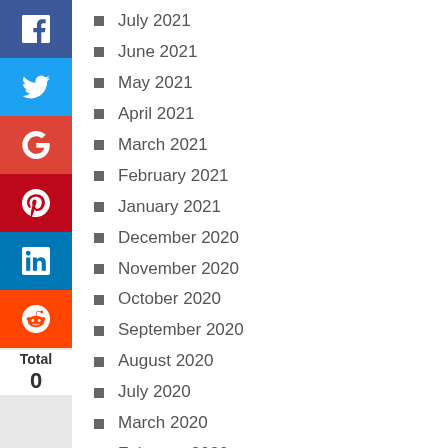July 2021
June 2021
May 2021
April 2021
March 2021
February 2021
January 2021
December 2020
November 2020
October 2020
September 2020
August 2020
July 2020
March 2020
February 2020
Total
0